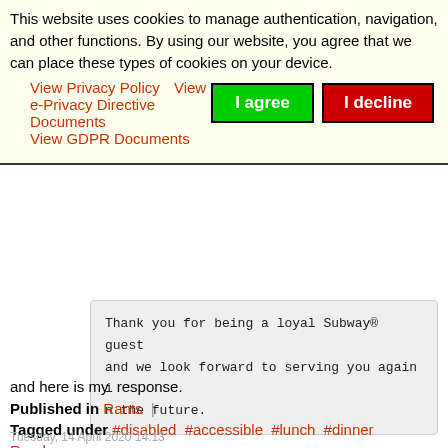This website uses cookies to manage authentication, navigation, and other functions. By using our website, you agree that we can place these types of cookies on your device.
View Privacy Policy   View e-Privacy Directive Documents   View GDPR Documents
I agree   I decline
Thank you for being a loyal Subway® guest and we look forward to serving you again in the future.
and here is my  response.
Published in  Rants
Tagged under  #disabled  #accessible  #lunch  #dinner
Read more...
Tuesday, 14 April 2020 14:13